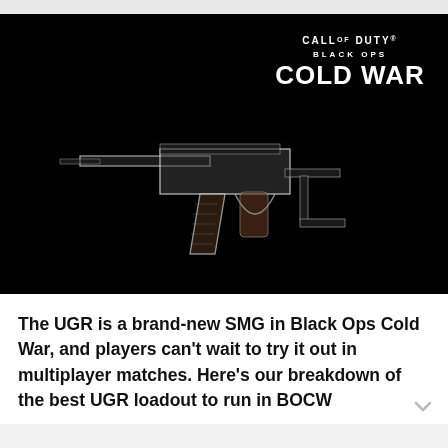[Figure (screenshot): Call of Duty Black Ops Cold War promotional image showing a UGR SMG weapon on a black background. The Call of Duty Black Ops Cold War logo appears in the top right corner.]
The UGR is a brand-new SMG in Black Ops Cold War, and players can't wait to try it out in multiplayer matches. Here's our breakdown of the best UGR loadout to run in BOCW